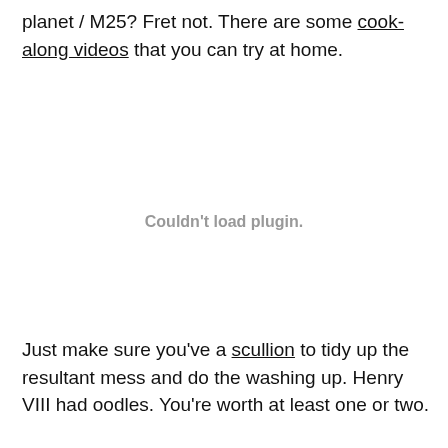planet / M25? Fret not. There are some cook-along videos that you can try at home.
[Figure (other): Embedded plugin area showing error message: Couldn't load plugin.]
Just make sure you've a scullion to tidy up the resultant mess and do the washing up. Henry VIII had oodles. You're worth at least one or two.